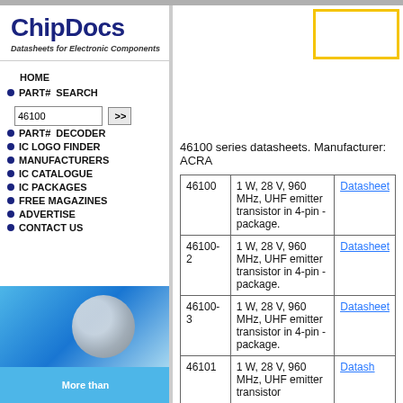[Figure (logo): ChipDocs logo with text 'ChipDocs' in bold dark blue and tagline 'Datasheets for Electronic Components' in italic]
HOME
PART# SEARCH
PART# DECODER
IC LOGO FINDER
MANUFACTURERS
IC CATALOGUE
IC PACKAGES
FREE MAGAZINES
ADVERTISE
CONTACT US
46100 series datasheets. Manufacturer: ACRA
| Part | Description | Link |
| --- | --- | --- |
| 46100 | 1 W, 28 V, 960 MHz, UHF emitter transistor in 4-pin - package. | Datasheet |
| 46100-2 | 1 W, 28 V, 960 MHz, UHF emitter transistor in 4-pin - package. | Datasheet |
| 46100-3 | 1 W, 28 V, 960 MHz, UHF emitter transistor in 4-pin - package. | Datasheet |
| 46101 | 1 W, 28 V, 960 MHz, UHF emitter transistor | Datasheet |
[Figure (photo): Blue background with disc/CD image in sidebar]
More than